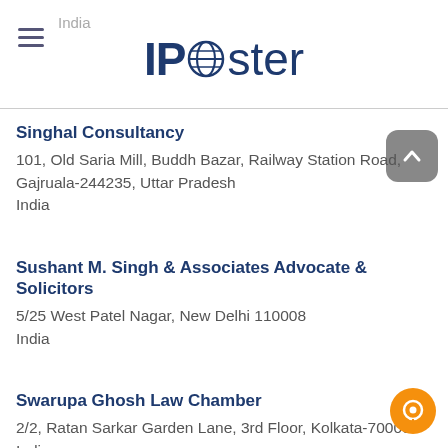India — IPcoster
Singhal Consultancy
101, Old Saria Mill, Buddh Bazar, Railway Station Road, Gajruala-244235, Uttar Pradesh
India
Sushant M. Singh & Associates Advocate & Solicitors
5/25 West Patel Nagar, New Delhi 110008
India
Swarupa Ghosh Law Chamber
2/2, Ratan Sarkar Garden Lane, 3rd Floor, Kolkata-700007
India